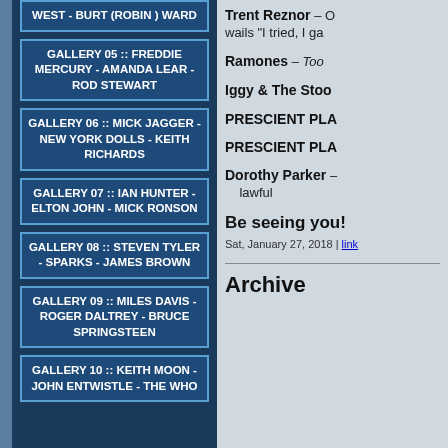WEST - BURT (ROBIN ) WARD
GALLERY 05 :: FREDDIE MERCURY - AMANDA LEAR - ROD STEWART
GALLERY 06 :: MICK JAGGER - NEW YORK DOLLS - KEITH RICHARDS
GALLERY 07 :: IAN HUNTER - ELTON JOHN - MICK RONSON
GALLERY 08 :: STEVEN TYLER - SPARKS - JAMES BROWN
GALLERY 09 :: MILES DAVIS - ROGER DALTREY - BRUCE SPRINGSTEEN
GALLERY 10 :: KEITH MOON - JOHN ENTWISTLE - THE WHO
Trent Reznor – wails "I tried, I ga...
Ramones – Too ...
Iggy & The Stoo...
PRESCIENT PLA...
PRESCIENT PLA...
Dorothy Parker – lawful...
Be seeing you!
Sat, January 27, 2018 | link
Archive